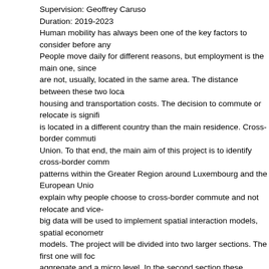Supervision: Geoffrey Caruso
Duration: 2019-2023
Human mobility has always been one of the key factors to consider before any People move daily for different reasons, but employment is the main one, since are not, usually, located in the same area. The distance between these two loca housing and transportation costs. The decision to commute or relocate is signifi is located in a different country than the main residence. Cross-border commuti Union. To that end, the main aim of this project is to identify cross-border comm patterns within the Greater Region around Luxembourg and the European Unio explain why people choose to cross-border commute and not relocate and vice- big data will be used to implement spatial interaction models, spatial econometr models. The project will be divided into two larger sections. The first one will foc aggregate and a micro level. In the second section these theoretical approache for the European Union and the Greater Region. Geo-located Twitter big data w
Financing alternative economies in regional sustainability transitions (Em
PhD Candidate: Elena Emrick-Schmitz
Supervision: Christian Schulz
Duration: 2020-2023
With growing environmental and social challenges, our current socio-economic finite environmental resources has come under close scrutiny. In particular com to imperatives of sustainability to tackle these aforementioned human-induced c collaborative sourcing, and deliberately pursue non-capitalist objectives. They c sustainability transitions that improve the livelihoods across all societal classes environmental perspective.
Through the conceptual lens of Diverse Economies this research sheds light on community economies within the urban environments of Luxembourg and Germ such projects outside the (financialized) capitalist realm require new forms of f